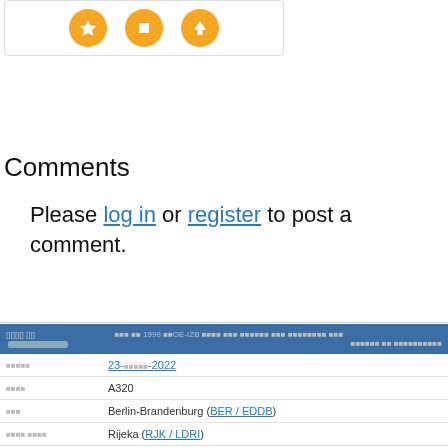[Figure (illustration): Three orange circular icons with white symbols (star, square/stop, up-arrow) displayed in a white bordered box]
Comments
Please log in or register to post a comment.
| [garbled] | [garbled text] 1998 [garbled]OE-IZB [garbled] [garbled] [garbled] |
| --- | --- |
| [garbled] | 23-[garbled]-2022 |
| [garbled] | A320 |
| [garbled] | Berlin-Brandenburg (BER / EDDB) |
| [garbled] | Rijeka (RJK / LDRI) |